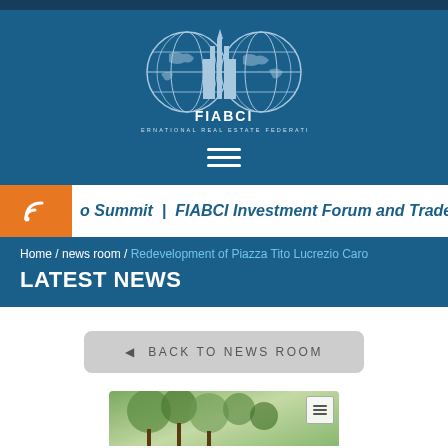[Figure (logo): FIABCI International Real Estate Federation logo with two globe icons and building silhouette]
FIABCI
INTERNATIONAL REAL ESTATE FEDERATION
o Summit | FIABCI Investment Forum and Trade Miss
Home / news room / Redevelopment of Piazza Tito Lucrezio Caro
LATEST NEWS
◄ BACK TO NEWS ROOM
[Figure (photo): Partial photo of trees/nature scene at bottom of page]